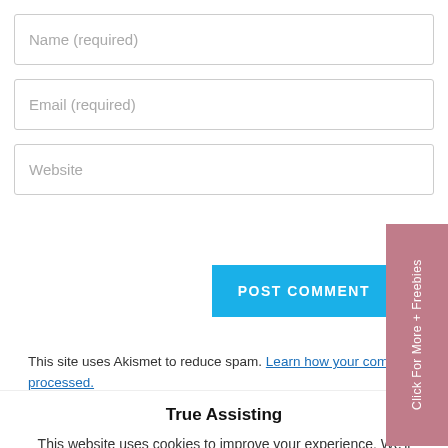Name (required)
Email (required)
Website
POST COMMENT
Click For More + Freebies
This site uses Akismet to reduce spam. Learn how your comment data is processed.
True Assisting
This website uses cookies to improve your experience. We'll assume you're ok with this, but you can opt-out if you wish.
Accept
Read More